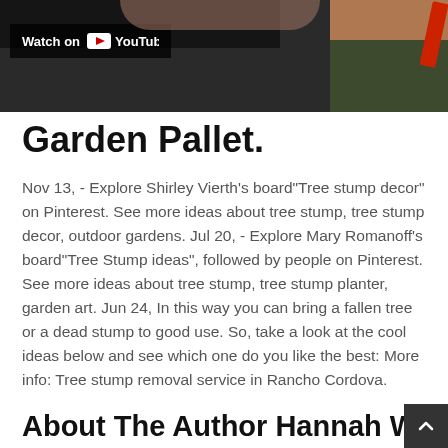[Figure (screenshot): YouTube video thumbnail showing a person's hand near ground/grass with a red element, with a 'Watch on YouTube' overlay button in the upper left corner]
Garden Pallet.
Nov 13, - Explore Shirley Vierth's board"Tree stump decor" on Pinterest. See more ideas about tree stump, tree stump decor, outdoor gardens. Jul 20, - Explore Mary Romanoff's board"Tree Stump ideas", followed by people on Pinterest. See more ideas about tree stump, tree stump planter, garden art. Jun 24, In this way you can bring a fallen tree or a dead stump to good use. So, take a look at the cool ideas below and see which one do you like the best: More info: Tree stump removal service in Rancho Cordova.
About The Author Hannah Watso